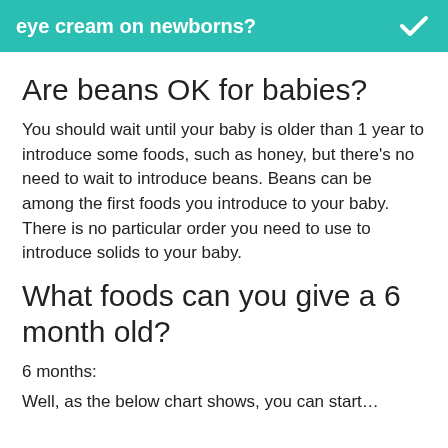eye cream on newborns?
Are beans OK for babies?
You should wait until your baby is older than 1 year to introduce some foods, such as honey, but there's no need to wait to introduce beans. Beans can be among the first foods you introduce to your baby. There is no particular order you need to use to introduce solids to your baby.
What foods can you give a 6 month old?
6 months:
Well, as the below chart shows, you can start...